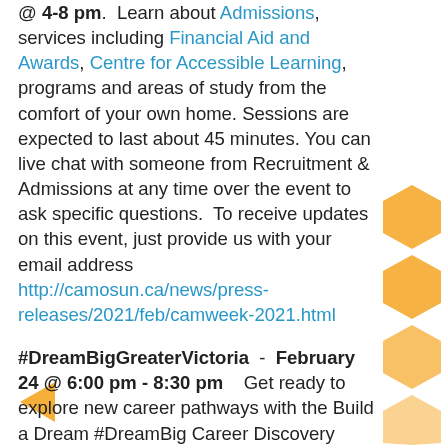@ 4-8 pm.  Learn about Admissions, services including Financial Aid and Awards, Centre for Accessible Learning, programs and areas of study from the comfort of your own home. Sessions are expected to last about 45 minutes. You can live chat with someone from Recruitment & Admissions at any time over the event to ask specific questions.  To receive updates on this event, just provide us with your email address http://camosun.ca/news/press-releases/2021/feb/camweek-2021.html
#DreamBigGreaterVictoria - February 24 @ 6:00 pm - 8:30 pm    Get ready to explore new career pathways with the Build a Dream #DreamBig Career Discovery Expo. Join us from the comfort of your own home, and tune in virtually!  Young women in grades 7-12, and their parents/guardians are invited to learn more about careers in skilled trades, science, technology, engineering, math, emergency services, and entrepreneurship. Register @ https://www.eventbrite.ca/e/dream-big-greater-
[Figure (illustration): Yellow/gold honeycomb hexagon decoration on the right side]
[Figure (illustration): Yellow/gold left-pointing arrow decoration on the left side]